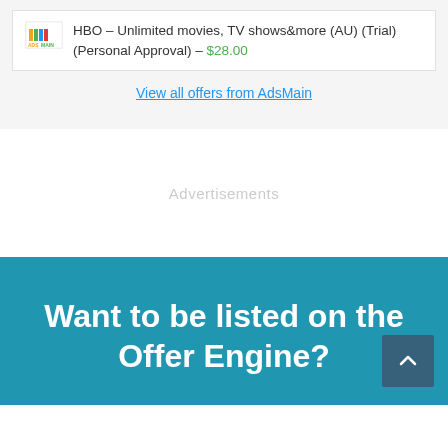HBO – Unlimited movies, TV shows&more (AU) (Trial) (Personal Approval) – $28.00
View all offers from AdsMain
Advertisements
Want to be listed on the Offer Engine?